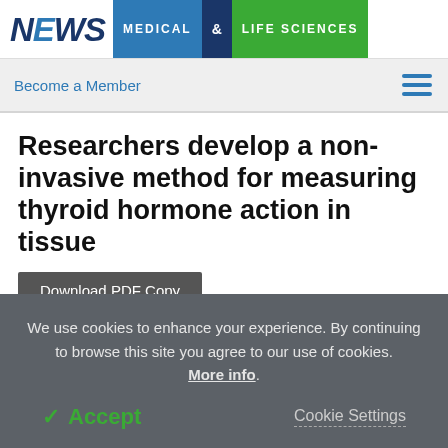NEWS MEDICAL & LIFE SCIENCES
Become a Member
Researchers develop a non-invasive method for measuring thyroid hormone action in tissue
Download PDF Copy
ADVERTISEMENT
We use cookies to enhance your experience. By continuing to browse this site you agree to our use of cookies. More info.
Accept
Cookie Settings